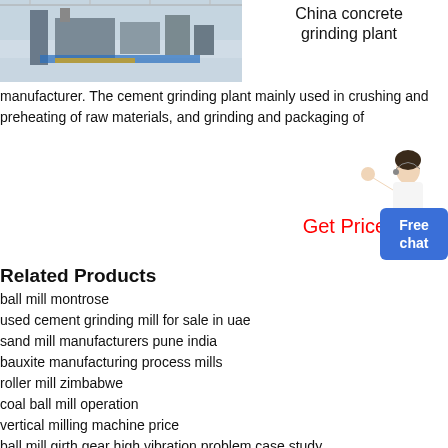[Figure (photo): Factory interior showing industrial grinding/milling equipment on a production floor]
China concrete grinding plant manufacturer. The cement grinding plant mainly used in crushing and preheating of raw materials, and grinding and packaging of
[Figure (photo): Customer service person (woman in white) with a 'Get Price' label and Free chat button]
Related Products
ball mill montrose
used cement grinding mill for sale in uae
sand mill manufacturers pune india
bauxite manufacturing process mills
roller mill zimbabwe
coal ball mill operation
vertical milling machine price
ball mill girth gear high vibration problem case study
raymond hammer mill manual